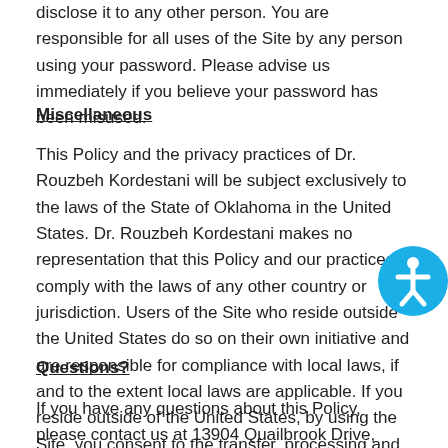disclose it to any other person. You are responsible for all uses of the Site by any person using your password. Please advise us immediately if you believe your password has been misused.
Miscellaneous
This Policy and the privacy practices of Dr. Rouzbeh Kordestani will be subject exclusively to the laws of the State of Oklahoma in the United States. Dr. Rouzbeh Kordestani makes no representation that this Policy and our practices comply with the laws of any other country or jurisdiction. Users of the Site who reside outside the United States do so on their own initiative and are responsible for compliance with local laws, if and to the extent local laws are applicable. If you reside outside of the United States, by using the Site, you consent to the transfer, processing and use of your information outside your country.
Questions?
If you have any questions about this Policy, please contact us at 13904 Quailbrook Drive, Texas Panhandle, OK 73134.